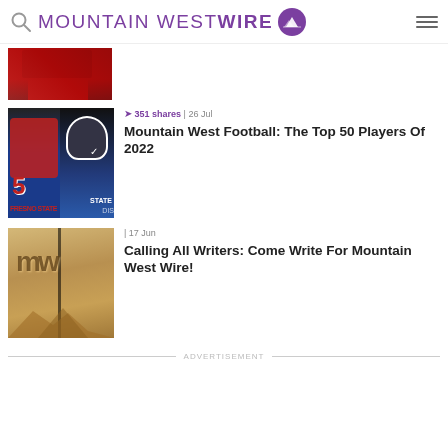MOUNTAIN WEST WIRE
[Figure (photo): Partial view of a football player in red uniform at top of page]
[Figure (photo): Two football players, one in Fresno State red jersey #5, one in State helmet]
351 shares | 26 Jul
Mountain West Football: The Top 50 Players Of 2022
[Figure (photo): Wooden artwork showing mountain landscape with MW logo]
| 17 Jun
Calling All Writers: Come Write For Mountain West Wire!
ADVERTISEMENT